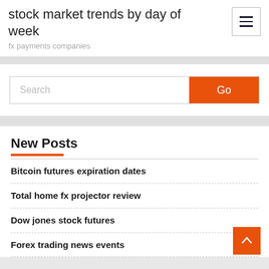stock market trends by day of week
fx payments companies
[Figure (other): Search bar with orange Go button]
New Posts
Bitcoin futures expiration dates
Total home fx projector review
Dow jones stock futures
Forex trading news events